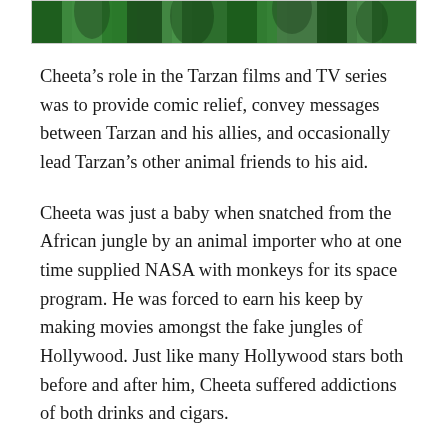[Figure (photo): Cropped top portion of an image showing green jungle foliage background with figures partially visible]
Cheeta’s role in the Tarzan films and TV series was to provide comic relief, convey messages between Tarzan and his allies, and occasionally lead Tarzan’s other animal friends to his aid.
Cheeta was just a baby when snatched from the African jungle by an animal importer who at one time supplied NASA with monkeys for its space program. He was forced to earn his keep by making movies amongst the fake jungles of Hollywood. Just like many Hollywood stars both before and after him, Cheeta suffered addictions of both drinks and cigars.